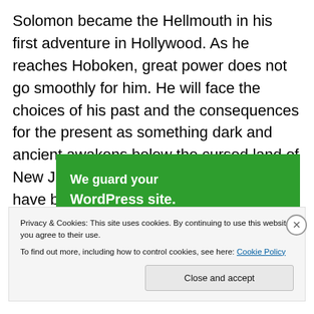Solomon became the Hellmouth in his first adventure in Hollywood. As he reaches Hoboken, great power does not go smoothly for him. He will face the choices of his past and the consequences for the present as something dark and ancient awakens below the cursed land of New Jersey. This time, the Hellmouth will have boobs … big boobs, but will they be enough?
[Figure (other): Green banner advertisement reading 'We guard your WordPress site. You run your business.']
Privacy & Cookies: This site uses cookies. By continuing to use this website, you agree to their use.
To find out more, including how to control cookies, see here: Cookie Policy
Close and accept